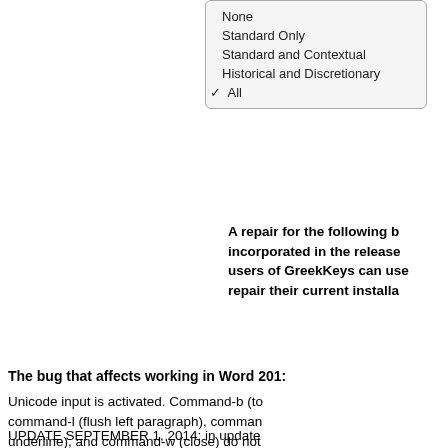[Figure (screenshot): A dropdown menu showing ligature options: None, Standard Only, Standard and Contextual, Historical and Discretionary, and All (checked with a checkmark).]
A repair for the following bug has been incorporated in the release of 2.0, so users of GreekKeys can use that to repair their current installation.
The bug that affects working in Word 2011:
Unicode input is activated. Command-b (toggle bold), command-l (flush left paragraph), command-u (underline), and command-w (close) do not work. On the other hand, fortunately, command-o (open), command-q (quit), command-c (copy), command-v (paste), command-a (select all), command-f (find), and command-p (print) work. Polytonic input and some other Apple input methods had this bug 1 for Office 2011. It still exists for GreekKeys 2.0 because the input is correctly formed, and that is why it works in Word 2011 and PowerPoint 2011. So it is mysterious. If you use these keyboard shortcuts, you will need to unlearn them.
UPDATE SEPTEMBER 1, 2014: in update...